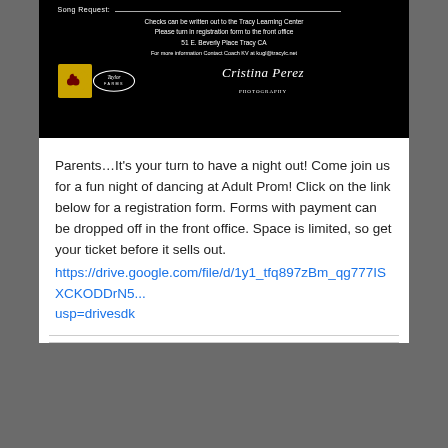[Figure (photo): Dark/black background image section showing partial event flyer with text: Song Request line, Checks can be written out to the Tracy Learning Center, Please turn in registration form to the front office, 51 E. Beverly Place Tracy CA, For more information Contact Coach KV at kugl@tracylc.net. Logos for QCTC and Taylor Farms visible, plus a cursive signature for Cristina Perez Photography.]
Parents…It's your turn to have a night out! Come join us for a fun night of dancing at Adult Prom! Click on the link below for a registration form. Forms with payment can be dropped off in the front office. Space is limited, so get your ticket before it sells out.
https://drive.google.com/file/d/1y1_tfq897zBm_qg777ISXCKODDrN5... usp=drivesdk